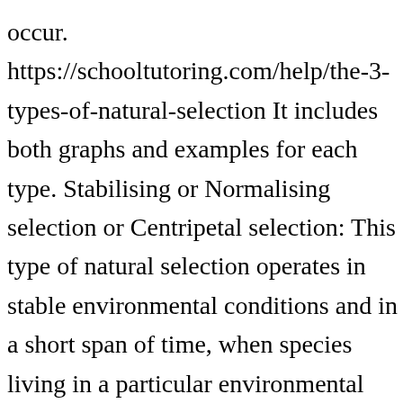occur. https://schooltutoring.com/help/the-3-types-of-natural-selection It includes both graphs and examples for each type. Stabilising or Normalising selection or Centripetal selection: This type of natural selection operates in stable environmental conditions and in a short span of time, when species living in a particular environmental conditions are perfectly adapted to live in it. Also view our Test Prep Resources for more testing information. The process of natural selection is important and is a driving force for evolution. In